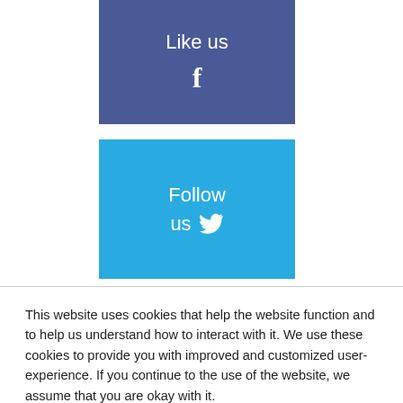[Figure (infographic): Facebook 'Like us' button box with dark blue background and Facebook 'f' icon in white]
[Figure (infographic): Twitter 'Follow us' button box with light blue background and Twitter bird icon in white]
ON TONIGHT
Former
R. Kelly
This website uses cookies that help the website function and to help us understand how to interact with it. We use these cookies to provide you with improved and customized user-experience. If you continue to the use of the website, we assume that you are okay with it.
Got It